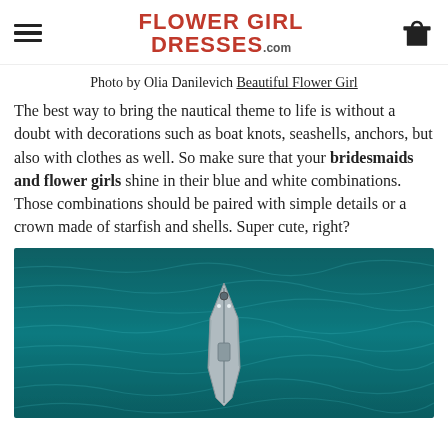FlowerGirlDresses.com
Photo by Olia Danilevich Beautiful Flower Girl
The best way to bring the nautical theme to life is without a doubt with decorations such as boat knots, seashells, anchors, but also with clothes as well. So make sure that your bridesmaids and flower girls shine in their blue and white combinations. Those combinations should be paired with simple details or a crown made of starfish and shells. Super cute, right?
[Figure (photo): Aerial view of a sailboat on dark teal ocean water, viewed from above showing the bow of the boat.]